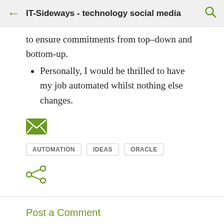IT-Sideways - technology social media
to ensure commitments from top–down and bottom-up.
Personally, I would be thrilled to have my job automated whilst nothing else changes.
[Figure (other): Green email/envelope icon]
AUTOMATION   IDEAS   ORACLE
[Figure (other): Green share icon]
Post a Comment